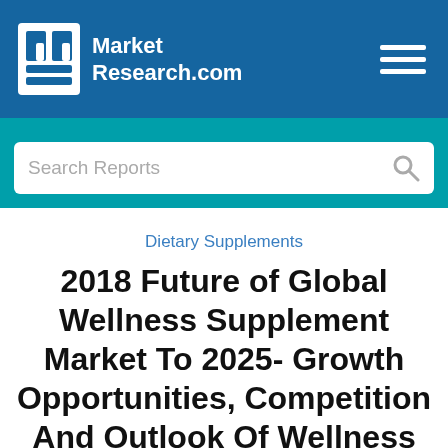Market Research.com
Search Reports
Dietary Supplements
2018 Future of Global Wellness Supplement Market To 2025- Growth Opportunities, Competition And Outlook Of Wellness Supplement by Type, End User And